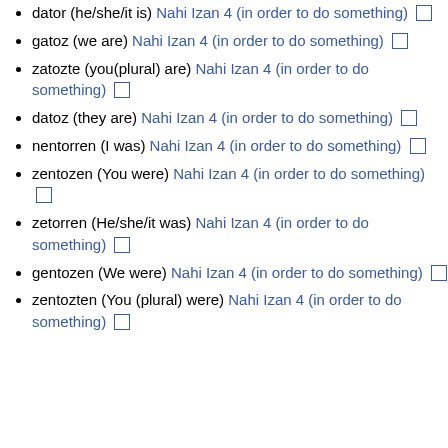dator (he/she/it is) Nahi Izan 4 (in order to do something) □
gatoz (we are) Nahi Izan 4 (in order to do something) □
zatozte (you(plural) are) Nahi Izan 4 (in order to do something) □
datoz (they are) Nahi Izan 4 (in order to do something) □
nentorren (I was) Nahi Izan 4 (in order to do something) □
zentozen (You were) Nahi Izan 4 (in order to do something) □
zetorren (He/she/it was) Nahi Izan 4 (in order to do something) □
gentozen (We were) Nahi Izan 4 (in order to do something) □
zentozten (You (plural) were) Nahi Izan 4 (in order to do something) □